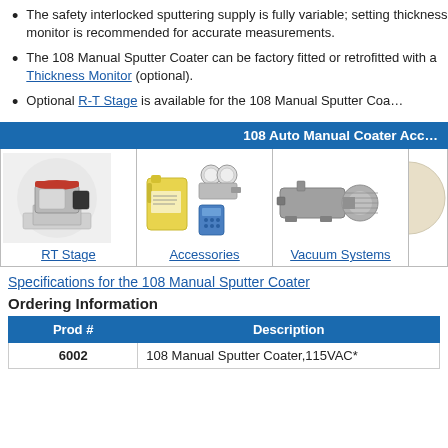The safety interlocked sputtering supply is fully variable; setting thickness monitor is recommended for accurate measurements.
The 108 Manual Sputter Coater can be factory fitted or retrofitted with a Thickness Monitor (optional).
Optional R-T Stage is available for the 108 Manual Sputter Coater.
108 Auto Manual Coater Accessories
[Figure (photo): RT Stage product photo - a lab instrument with red cap on metallic body]
RT Stage
[Figure (photo): Accessories photo - yellow jug with gas regulator and blue handheld device]
Accessories
[Figure (photo): Vacuum Systems photo - grey vacuum pump motor unit]
Vacuum Systems
[Figure (photo): Fourth accessory item - partial view of round light-colored object]
Specifications for the 108 Manual Sputter Coater
Ordering Information
| Prod # | Description |
| --- | --- |
| 6002 | 108 Manual Sputter Coater,115VAC* |